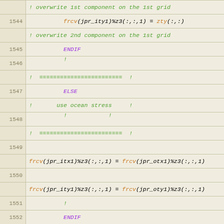[Figure (screenshot): Source code listing in Fortran with line numbers 1544-1562, showing code for overwriting stress components on grids and putting values on ice grid. Uses color syntax highlighting: purple for keywords (ENDIF, ELSE), orange for function calls (frcv, zty), green for comments.]